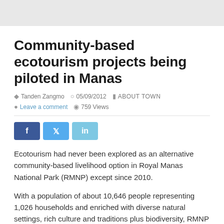Community-based ecotourism projects being piloted in Manas
Tanden Zangmo   05/09/2012   ABOUT TOWN
Leave a comment   759 Views
[Figure (infographic): Social share buttons: Facebook (f), Twitter (bird icon), LinkedIn (in)]
Ecotourism had never been explored as an alternative community-based livelihood option in Royal Manas National Park (RMNP) except since 2010.
With a population of about 10,646 people representing 1,026 households and enriched with diverse natural settings, rich culture and traditions plus biodiversity, RMNP has always been a potential ecotourism destination.